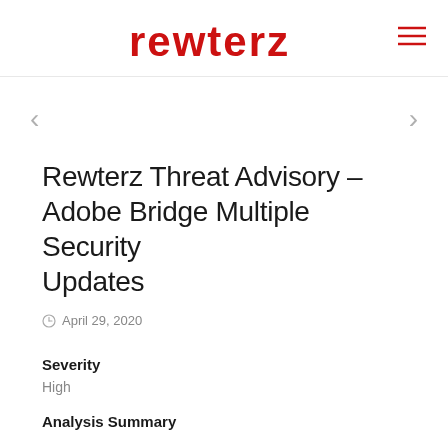rewterz
Rewterz Threat Advisory – Adobe Bridge Multiple Security Updates
April 29, 2020
Severity
High
Analysis Summary